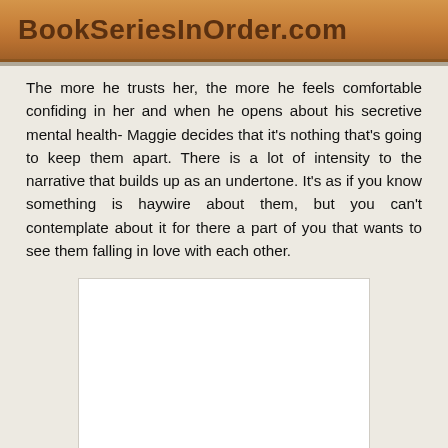BookSeriesInOrder.com
The more he trusts her, the more he feels comfortable confiding in her and when he opens about his secretive mental health- Maggie decides that it's nothing that's going to keep them apart. There is a lot of intensity to the narrative that builds up as an undertone. It's as if you know something is haywire about them, but you can't contemplate about it for there a part of you that wants to see them falling in love with each other.
[Figure (other): White rectangular image placeholder area]